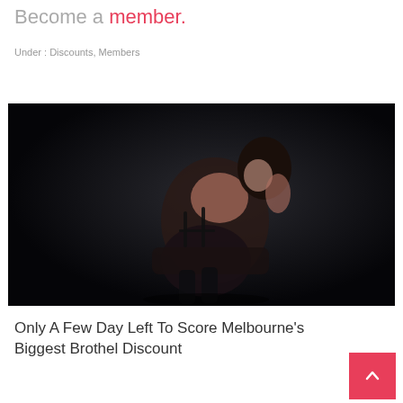Become a member.
Under : Discounts, Members
[Figure (photo): Woman in black lingerie posing on a chair against a dark background]
Only A Few Day Left To Score Melbourne's Biggest Brothel Discount